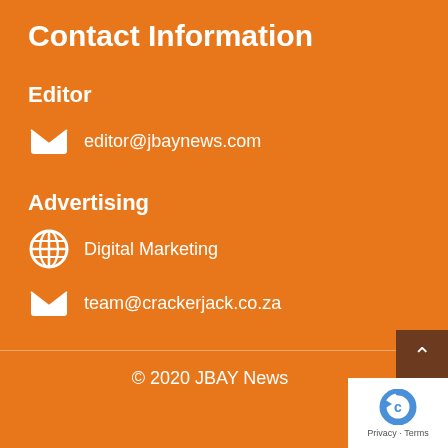Contact Information
Editor
editor@jbaynews.com
Advertising
Digital Marketing
team@crackerjack.co.za
© 2020 JBAY News